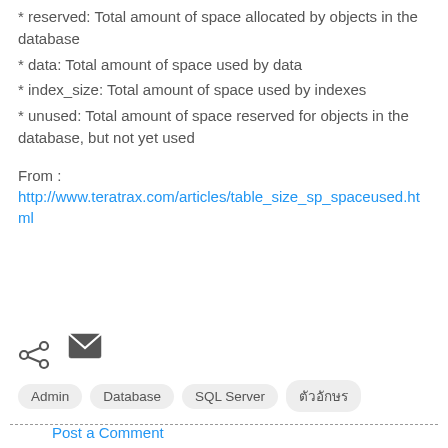* reserved: Total amount of space allocated by objects in the database
* data: Total amount of space used by data
* index_size: Total amount of space used by indexes
* unused: Total amount of space reserved for objects in the database, but not yet used
From :
http://www.teratrax.com/articles/table_size_sp_spaceused.html
[Figure (infographic): Email icon (envelope) and share icon]
Admin  Database  SQL Server  ตัวอักษร
Post a Comment